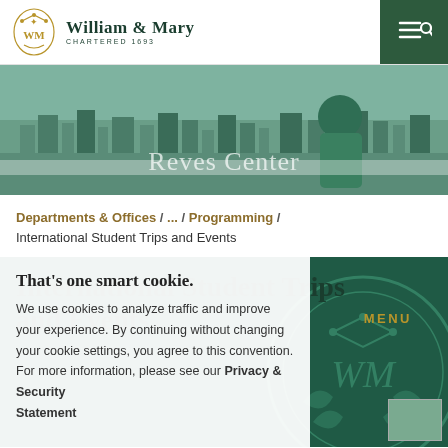William & Mary — Chartered 1693
[Figure (photo): Hero banner photo of a student in a green shirt looking out over a European cityscape, with 'Reves Center' overlaid in semi-transparent white text]
Departments & Offices / ... / Programming / International Student Trips and Events
International Student Trips and Events
That's one smart cookie. We use cookies to analyze traffic and improve your experience. By continuing without changing your cookie settings, you agree to this convention. For more information, please see our Privacy & Security Statement